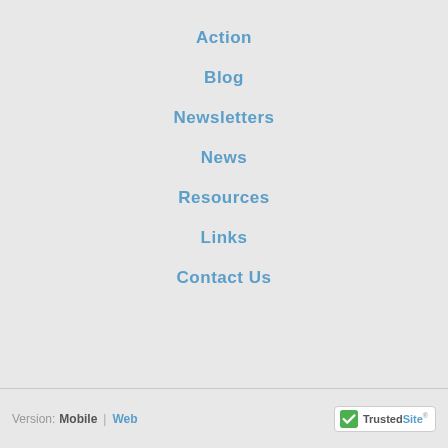Action
Blog
Newsletters
News
Resources
Links
Contact Us
Version: Mobile | Web  TrustedSite